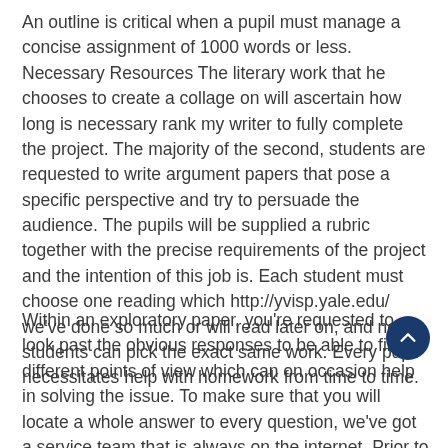An outline is critical when a pupil must manage a concise assignment of 1000 words or less. Necessary Resources The literary work that he chooses to create a collage on will ascertain how long is necessary rank my writer to fully complete the project. The majority of the second, students are requested to write argument papers that pose a specific perspective and try to persuade the audience. The pupils will be supplied a rubric together with the precise requirements of the project and the intention of this job is. Each student must choose one reading which http://yvisp.yale.edu/ we've done so much or will read later on, and no 2 students can pick the exact same work. Every pupil necessitates help with homework from time to time.
Within an exploratory paper, you're requested to look past the obvious responses to be able to find different points of view which can on occasion help in solving the issue. To make sure that you will locate a whole answer to every question, we've got a service team that is always on the internet. Prior to beginning a point of view essay, you will